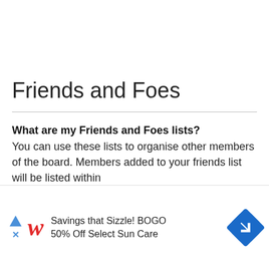Friends and Foes
What are my Friends and Foes lists?
You can use these lists to organise other members of the board. Members added to your friends list will be listed within
[Figure (screenshot): Advertisement banner for Walgreens: 'Savings that Sizzle! BOGO 50% Off Select Sun Care' with Walgreens logo and navigation arrow icon]